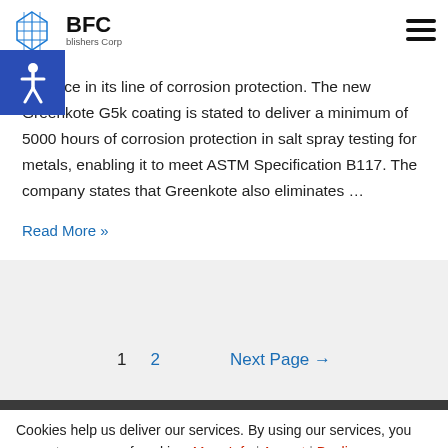[Figure (logo): BFC Publishers Corp logo with blue diamond/building icon]
advance in its line of corrosion protection. The new Greenkote G5k coating is stated to deliver a minimum of 5000 hours of corrosion protection in salt spray testing for metals, enabling it to meet ASTM Specification B117.  The company states that Greenkote also eliminates …
Read More »
1   2   Next Page →
Cookies help us deliver our services. By using our services, you agree to our use of cookies. More Info | Accept | Decline